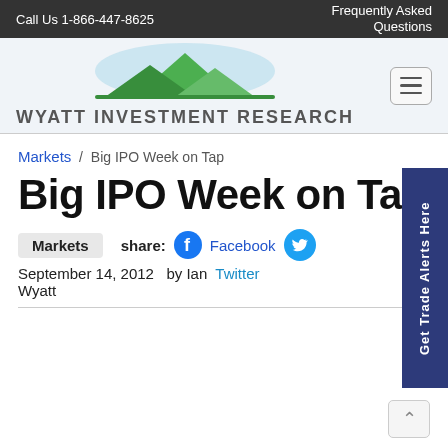Call Us 1-866-447-8625    Frequently Asked Questions
[Figure (logo): Wyatt Investment Research logo with mountain/landscape graphic and text 'WYATT INVESTMENT RESEARCH']
Markets / Big IPO Week on Tap
Big IPO Week on Tap
Markets    share: Facebook
September 14, 2012  by Ian Twitter Wyatt